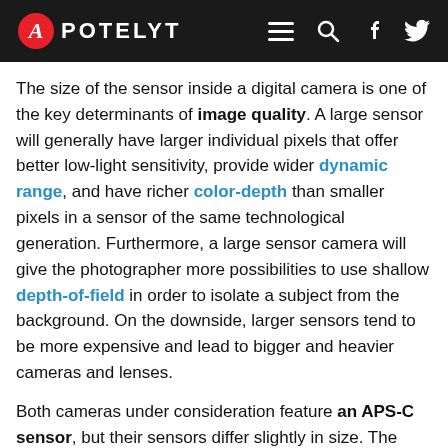APOTELYT
The size of the sensor inside a digital camera is one of the key determinants of image quality. A large sensor will generally have larger individual pixels that offer better low-light sensitivity, provide wider dynamic range, and have richer color-depth than smaller pixels in a sensor of the same technological generation. Furthermore, a large sensor camera will give the photographer more possibilities to use shallow depth-of-field in order to isolate a subject from the background. On the downside, larger sensors tend to be more expensive and lead to bigger and heavier cameras and lenses.
Both cameras under consideration feature an APS-C sensor, but their sensors differ slightly in size. The sensor area in the X Typ 113 is 11 percent bigger. As a result of these sensor size differences, the cameras have format factors, respectively, of 1.6 (700D) and 1.5. Both cameras have a native aspect ratio (sensor width to sensor height) of 3:2.